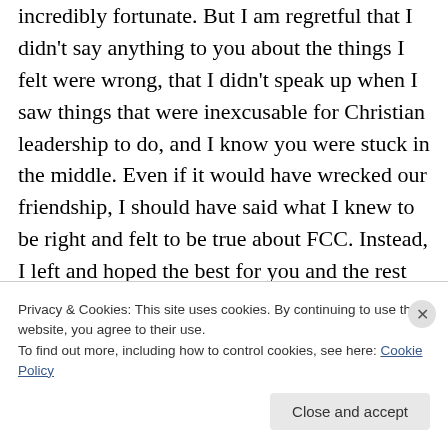incredibly fortunate. But I am regretful that I didn't say anything to you about the things I felt were wrong, that I didn't speak up when I saw things that were inexcusable for Christian leadership to do, and I know you were stuck in the middle. Even if it would have wrecked our friendship, I should have said what I knew to be right and felt to be true about FCC. Instead, I left and hoped the best for you and the rest of my friends there, and that's not something someone with convictions and honor and bravery does. is
Privacy & Cookies: This site uses cookies. By continuing to use this website, you agree to their use.
To find out more, including how to control cookies, see here: Cookie Policy